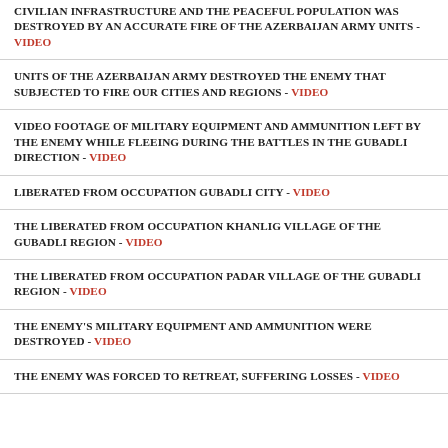CIVILIAN INFRASTRUCTURE AND THE PEACEFUL POPULATION WAS DESTROYED BY AN ACCURATE FIRE OF THE AZERBAIJAN ARMY UNITS - VIDEO
UNITS OF THE AZERBAIJAN ARMY DESTROYED THE ENEMY THAT SUBJECTED TO FIRE OUR CITIES AND REGIONS - VIDEO
VIDEO FOOTAGE OF MILITARY EQUIPMENT AND AMMUNITION LEFT BY THE ENEMY WHILE FLEEING DURING THE BATTLES IN THE GUBADLI DIRECTION - VIDEO
LIBERATED FROM OCCUPATION GUBADLI CITY - VIDEO
THE LIBERATED FROM OCCUPATION KHANLIG VILLAGE OF THE GUBADLI REGION - VIDEO
THE LIBERATED FROM OCCUPATION PADAR VILLAGE OF THE GUBADLI REGION - VIDEO
THE ENEMY'S MILITARY EQUIPMENT AND AMMUNITION WERE DESTROYED - VIDEO
THE ENEMY WAS FORCED TO RETREAT, SUFFERING LOSSES - VIDEO